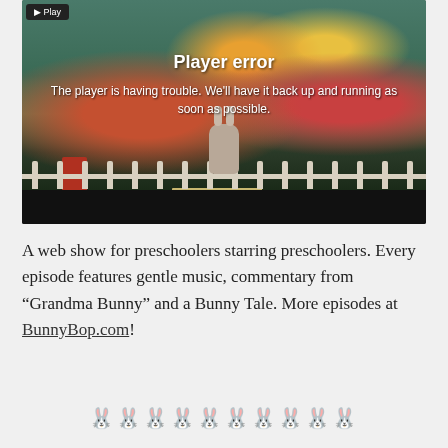[Figure (screenshot): Video player showing 'Player error' message over a scene with a bunny character in a garden/playroom setting. Dark overlay with white text reading 'Player error' and 'The player is having trouble. We'll have it back up and running as soon as possible.']
A web show for preschoolers starring preschoolers. Every episode features gentle music, commentary from “Grandma Bunny” and a Bunny Tale. More episodes at BunnyBop.com!
🐰🐰🐰🐰🐰🐰🐰🐰🐰🐰